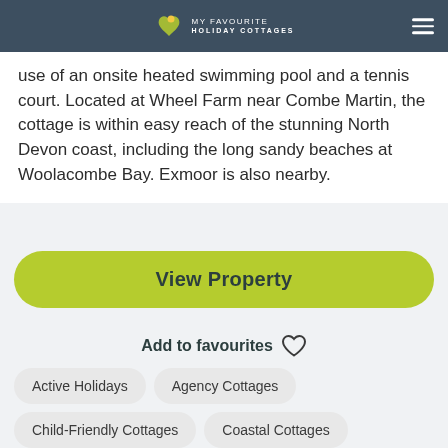MY FAVOURITE HOLIDAY COTTAGES
use of an onsite heated swimming pool and a tennis court. Located at Wheel Farm near Combe Martin, the cottage is within easy reach of the stunning North Devon coast, including the long sandy beaches at Woolacombe Bay. Exmoor is also nearby.
View Property
Add to favourites
Active Holidays
Agency Cottages
Child-Friendly Cottages
Coastal Cottages
Countryside Cottages